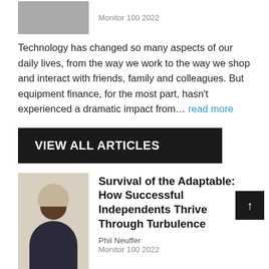[Figure (photo): Gray placeholder photo box for article author]
Monitor 100 2022
Technology has changed so many aspects of our daily lives, from the way we work to the way we shop and interact with friends, family and colleagues. But equipment finance, for the most part, hasn't experienced a dramatic impact from... read more
VIEW ALL ARTICLES
[Figure (photo): Headshot of Phil Neuffer, a bearded man in a suit, smiling]
Survival of the Adaptable: How Successful Independents Thrive Through Turbulence
Phil Neuffer
Monitor 100 2022
The idea that any company can future-proof its business ignores the reality that there will always be new changes